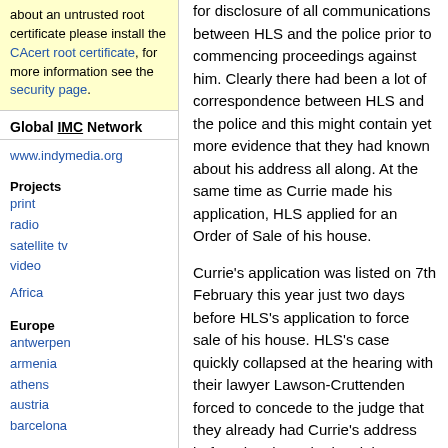about an untrusted root certificate please install the CAcert root certificate, for more information see the security page.
Global IMC Network
www.indymedia.org
Projects
print
radio
satellite tv
video
Africa
Europe
antwerpen
armenia
athens
austria
barcelona
for disclosure of all communications between HLS and the police prior to commencing proceedings against him. Clearly there had been a lot of correspondence between HLS and the police and this might contain yet more evidence that they had known about his address all along. At the same time as Currie made his application, HLS applied for an Order of Sale of his house.

Currie's application was listed on 7th February this year just two days before HLS's application to force sale of his house. HLS's case quickly collapsed at the hearing with their lawyer Lawson-Cruttenden forced to concede to the judge that they already had Currie's address before they brought the claim against him. As a result of this concession the judge indicated that the costs order against Currie would probably be set aside. The hearing to decide on whether Currie's house should be sold was vacated. Two weeks later, on Tuesday